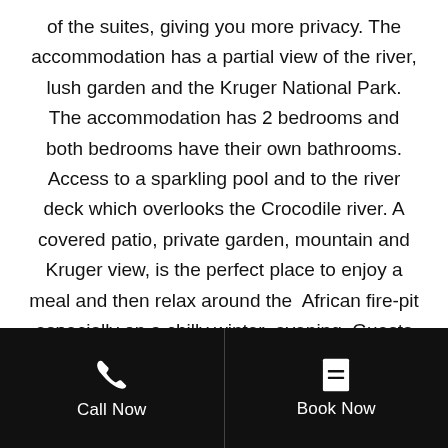of the suites, giving you more privacy. The accommodation has a partial view of the river, lush garden and the Kruger National Park. The accommodation has 2 bedrooms and both bedrooms have their own bathrooms. Access to a sparkling pool and to the river deck which overlooks the Crocodile river. A covered patio, private garden, mountain and Kruger view, is the perfect place to enjoy a meal and then relax around the African fire-pit especially on a chilly winter evening. Guests will have access to our Dzombo Spa where they can indulge in some
Call Now | Book Now